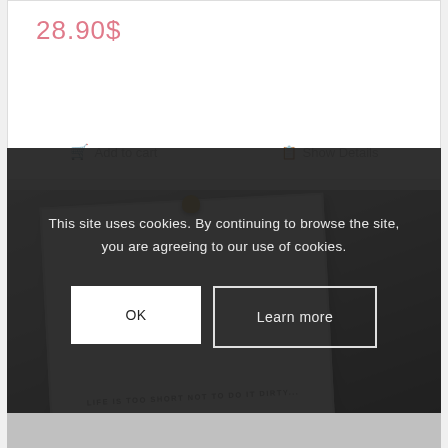28.90$
Add to cart
Show Details
[Figure (photo): A white framed book or notepad with the text 'LIFE IS TOO SHORT NOT TO DO IT DIRTY...' printed on it, displayed against a grey concrete-like background with a gold clasp visible at the top.]
This site uses cookies. By continuing to browse the site, you are agreeing to our use of cookies.
OK
Learn more